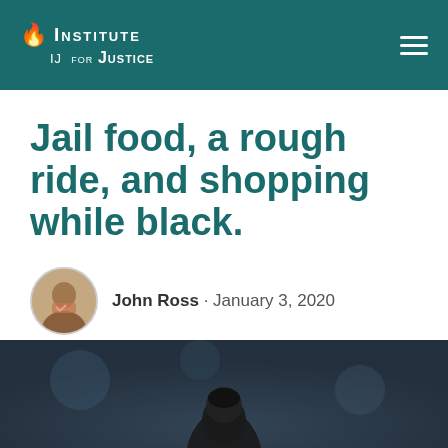Institute for Justice
Jail food, a rough ride, and shopping while black.
John Ross · January 3, 2020
[Figure (photo): Dark-toned photo showing a person's head/silhouette from behind against a blurred background]